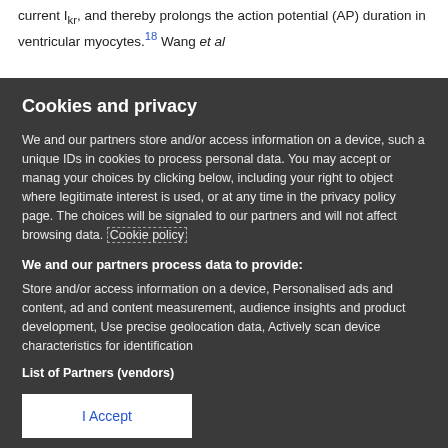current I_kr and thereby prolongs the action potential (AP) duration in ventricular myocytes.18 Wang et al
Cookies and privacy
We and our partners store and/or access information on a device, such as unique IDs in cookies to process personal data. You may accept or manage your choices by clicking below, including your right to object where legitimate interest is used, or at any time in the privacy policy page. These choices will be signaled to our partners and will not affect browsing data. Cookie policy
We and our partners process data to provide:
Store and/or access information on a device, Personalised ads and content, ad and content measurement, audience insights and product development, Use precise geolocation data, Actively scan device characteristics for identification
List of Partners (vendors)
I Accept